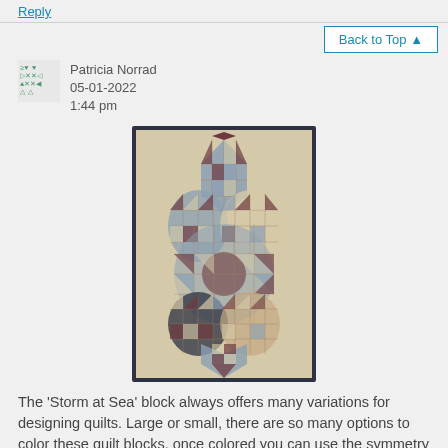Reply
Back to Top ▲
Patricia Norrad
05-01-2022
1:44 pm
[Figure (photo): A decorative quilt with a Storm at Sea pattern featuring overlapping medallion shapes made of triangles, diamonds, and squares in muted blue, burgundy/red, and cream/tan colors on a beige background with a dark navy border.]
The 'Storm at Sea' block always offers many variations for designing quilts. Large or small, there are so many options to color these quilt blocks, once colored you can use the symmetry option